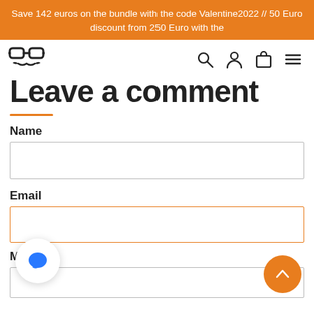Save 142 euros on the bundle with the code Valentine2022 // 50 Euro discount from 250 Euro with the
[Figure (logo): Hipster glasses and mustache logo icon]
Leave a comment
Name
Email
Message